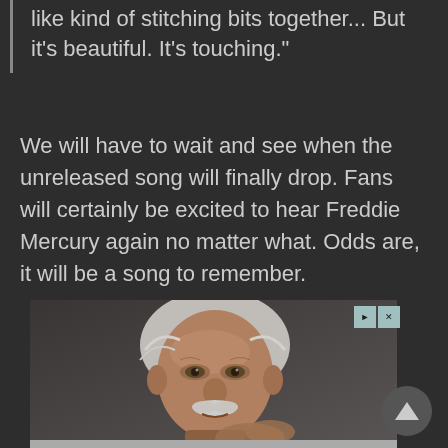like kind of stitching bits together... But it's beautiful. It's touching."
We will have to wait and see when the unreleased song will finally drop. Fans will certainly be excited to hear Freddie Mercury again no matter what. Odds are, it will be a song to remember.
[Figure (photo): Black and white / dark photograph of an elderly man with white hair and mustache, hands clasped together, resembling Albert Einstein, shown as an advertisement.]